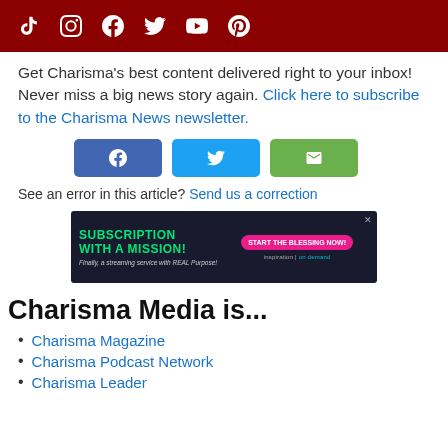Social media icons: TikTok, Instagram, Facebook, Twitter, YouTube, Pinterest
Get Charisma's best content delivered right to your inbox! Never miss a big news story again. Click here to subscribe to the Charisma News newsletter.
[Figure (infographic): Share buttons: Facebook (blue), Twitter (light blue), Email (green)]
See an error in this article? Send us a correction
[Figure (infographic): Advertisement banner: SUBSCRIPTION WITH A MISSION! Finally, a streaming service with REAL Purpose! START THE BLESSING NOW! inspiration | on demand]
Charisma Media is...
Charisma Magazine
Charisma Podcast Network
Charisma Leader